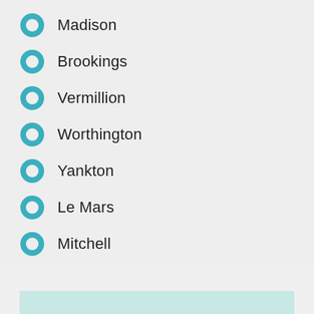Madison
Brookings
Vermillion
Worthington
Yankton
Le Mars
Mitchell